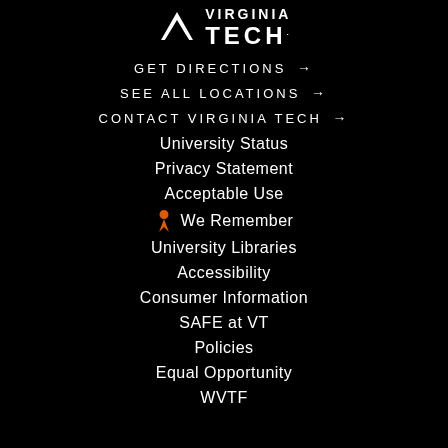[Figure (logo): Virginia Tech logo with chevron V and wordmark VIRGINIA TECH]
GET DIRECTIONS →
SEE ALL LOCATIONS →
CONTACT VIRGINIA TECH →
University Status
Privacy Statement
Acceptable Use
🎗 We Remember
University Libraries
Accessibility
Consumer Information
SAFE at VT
Policies
Equal Opportunity
WVTF